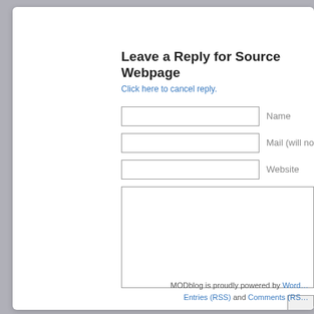Leave a Reply for Source Webpage
Click here to cancel reply.
Name
Mail (will not be published)
Website
MODblog is proudly powered by WordPress
Entries (RSS) and Comments (RSS)